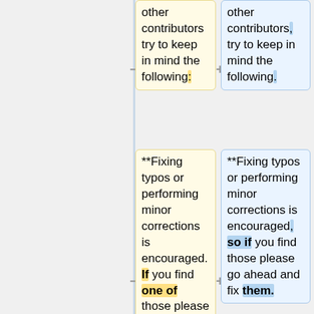other contributors try to keep in mind the following:
other contributors, try to keep in mind the following.
**Fixing typos or performing minor corrections is encouraged. If you find one of those please go ahead and fix it;
**Fixing typos or performing minor corrections is encouraged, so if you find those please go ahead and fix them.
**If what you have in mind is a major rewriting or you would like to propose extensive changes we ask you not to do so before discussing it with
**If what you have in mind is a major rewriting, or you would like to propose extensive changes, we ask you not to do so before discussing it with